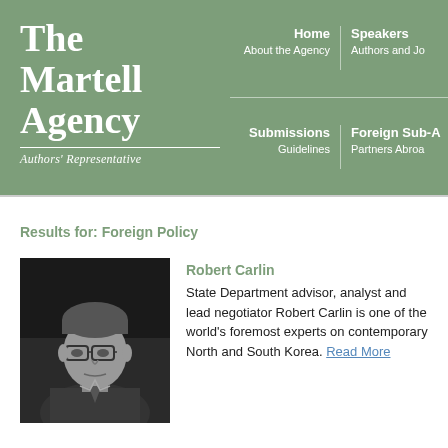[Figure (logo): The Martell Agency logo with white text on green background, showing 'The Martell Agency' in large serif font and 'Authors' Representative' in italic below a horizontal rule]
Home | About the Agency | Speakers | Authors and Jo... | Submissions | Guidelines | Foreign Sub-A... | Partners Abroa...
Results for: Foreign Policy
[Figure (photo): Black and white photograph of Robert Carlin, a middle-aged man wearing glasses and a suit]
Robert Carlin
State Department advisor, analyst and lead negotiator Robert Carlin is one of the world's foremost experts on contemporary North and South Korea. Read More